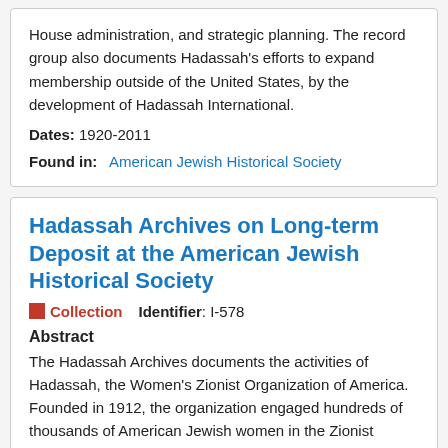House administration, and strategic planning. The record group also documents Hadassah's efforts to expand membership outside of the United States, by the development of Hadassah International.
Dates: 1920-2011
Found in: American Jewish Historical Society
Hadassah Archives on Long-term Deposit at the American Jewish Historical Society
Collection   Identifier: I-578
Abstract
The Hadassah Archives documents the activities of Hadassah, the Women's Zionist Organization of America. Founded in 1912, the organization engaged hundreds of thousands of American Jewish women in the Zionist project. Materials include extensive records of its social welfare projects in Palestine and later Israel, such as Youth Aliyah and the Hadassah Medical Organization. Administrative records document the organization's governance, operations